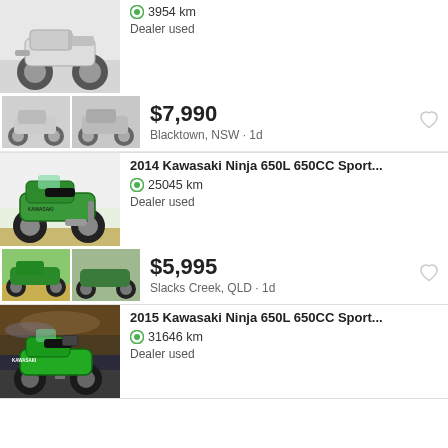[Figure (screenshot): Motorcycle classifieds listing page showing used Kawasaki Ninja motorcycles for sale. Three listings visible: partial top listing (white/grey Kawasaki Ninja, 3954 km, Dealer used, $7,990, Blacktown NSW, 1d); 2014 Kawasaki Ninja 650L 650CC Sport... 25045 km, Dealer used, $5,995, Slacks Creek QLD, 1d; 2015 Kawasaki Ninja 650L 650CC Sport... 31646 km, Dealer used (price cut off).]